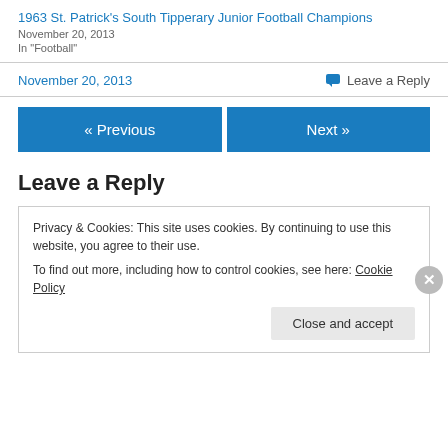1963 St. Patrick's South Tipperary Junior Football Champions
November 20, 2013
In "Football"
November 20, 2013   Leave a Reply
« Previous
Next »
Leave a Reply
Privacy & Cookies: This site uses cookies. By continuing to use this website, you agree to their use.
To find out more, including how to control cookies, see here: Cookie Policy
Close and accept